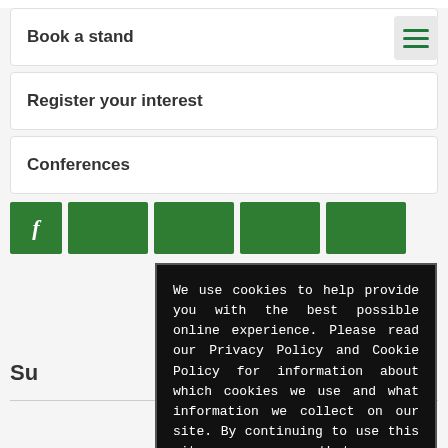Book a stand
Register your interest
Conferences
[Figure (screenshot): Facebook social share button (green square with 'f') and four additional green social media buttons]
Su
We use cookies to help provide you with the best possible online experience. Please read our Privacy Policy and Cookie Policy for information about which cookies we use and what information we collect on our site. By continuing to use this site, you agree that we may store and access cookies on your device.
I AGREE